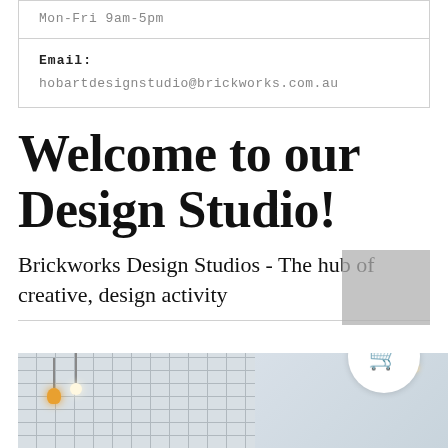Mon-Fri 9am-5pm
Email:
hobartdesignstudio@brickworks.com.au
Welcome to our Design Studio!
Brickworks Design Studios - The hub of creative, design activity
[Figure (photo): Interior photo of a design studio showroom with white tile walls, pendant lights with gold/amber bulbs, glass partitions, and a cluster of decorative pendant lights on the right side.]